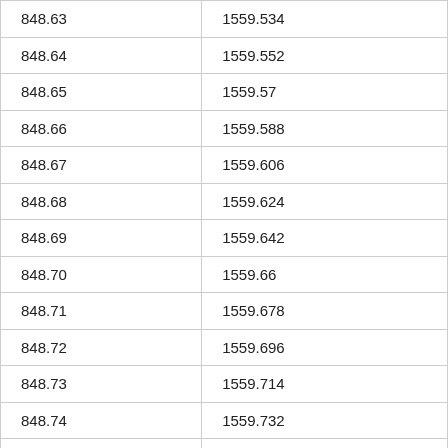| 848.63 | 1559.534 |
| 848.64 | 1559.552 |
| 848.65 | 1559.57 |
| 848.66 | 1559.588 |
| 848.67 | 1559.606 |
| 848.68 | 1559.624 |
| 848.69 | 1559.642 |
| 848.70 | 1559.66 |
| 848.71 | 1559.678 |
| 848.72 | 1559.696 |
| 848.73 | 1559.714 |
| 848.74 | 1559.732 |
| 848.75 | 1559.75 |
| 848.76 | 1559.768 |
| 848.77 | 1559.786 |